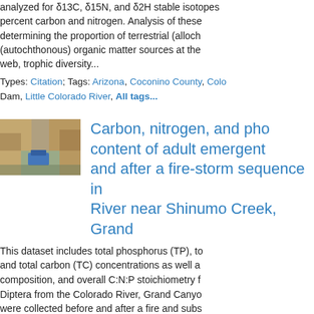analyzed for δ13C, δ15N, and δ2H stable isotopes and percent carbon and nitrogen. Analysis of these data is key to determining the proportion of terrestrial (allochthonous) and (autochthonous) organic matter sources at the base of the food web, trophic diversity...
Types: Citation; Tags: Arizona, Coconino County, Colorado Dam, Little Colorado River, All tags...
[Figure (photo): Thumbnail photo of a river canyon scene with blue equipment visible]
Carbon, nitrogen, and phosphorus content of adult emergent aquatic insects before and after a fire-storm sequence in the Colorado River near Shinumo Creek, Grand Canyon
This dataset includes total phosphorus (TP), total nitrogen, and total carbon (TC) concentrations as well as elemental composition, and overall C:N:P stoichiometry for adult aquatic Diptera from the Colorado River, Grand Canyon. Specimens were collected before and after a fire and subsequent storm occurred in the Shinumo Watershed, a tributary to the Colorado River in Northern Arizona. Diptera specimens were captured in light traps placed on the banks of the Colorado River 1 mile above and 25 miles below Shinumo Creek (river miles) between 2013 and 2015. This data series cont...